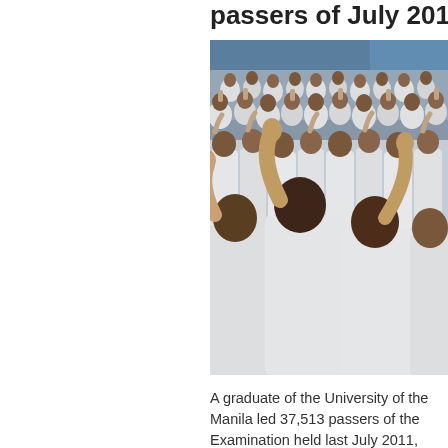passers of July 2011
[Figure (photo): Large group of nursing graduates dressed in white uniforms taking an oath with right hands raised, in a crowded venue.]
A graduate of the University of the Manila led 37,513 passers of the Examination held last July 2011, results released by the Professional Commission (PRC) on Saturday.